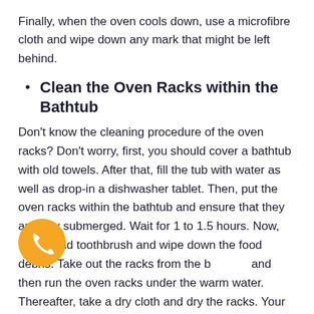Finally, when the oven cools down, use a microfibre cloth and wipe down any mark that might be left behind.
Clean the Oven Racks within the Bathtub
Don't know the cleaning procedure of the oven racks? Don't worry, first, you should cover a bathtub with old towels. After that, fill the tub with water as well as drop-in a dishwasher tablet. Then, put the oven racks within the bathtub and ensure that they are fully submerged. Wait for 1 to 1.5 hours. Now, use an old toothbrush and wipe down the food debris. Take out the racks from the bathtub and then run the oven racks under the warm water. Thereafter, take a dry cloth and dry the racks. Your